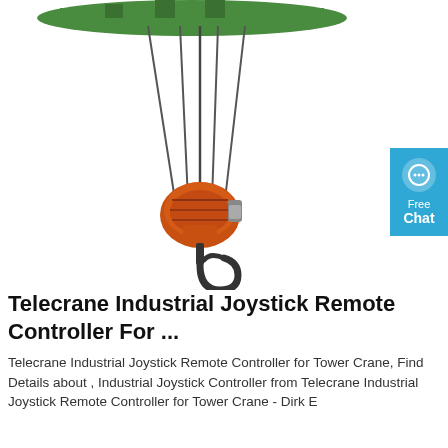[Figure (photo): Product photo of a crane hook block assembly: green overhead crane crossbeam/plate at top, multiple wire ropes hanging down, orange pulley/sheave block in the middle, and a black hook at the bottom. White background.]
Telecrane Industrial Joystick Remote Controller For ...
Telecrane Industrial Joystick Remote Controller for Tower Crane, Find Details about , Industrial Joystick Controller from Telecrane Industrial Joystick Remote Controller for Tower Crane - Dirk E